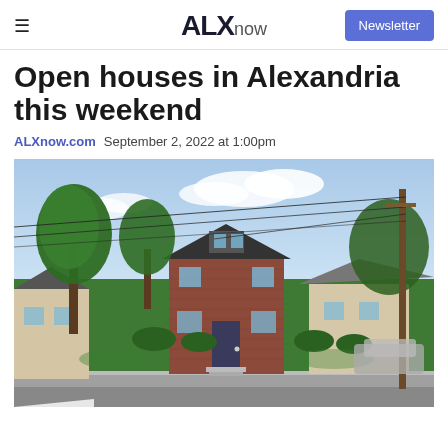ALXnow | Newsletter
Open houses in Alexandria this weekend
ALXnow.com  September 2, 2022 at 1:00pm
[Figure (photo): Street-level photo of a two-story brick house in Alexandria with green lawn, large trees, a utility pole with power lines, driveway, and neighboring houses visible in the background under a partly cloudy sky.]